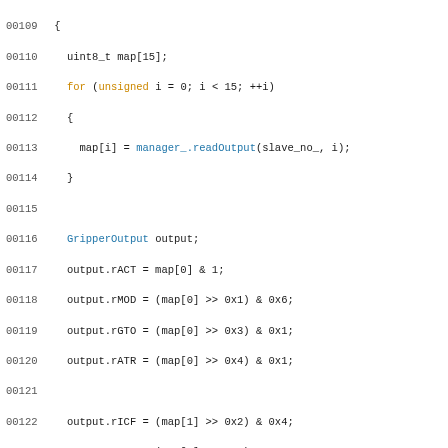Code snippet lines 00109-00139 showing C++ implementation of gripper output mapping using uint8_t array and bit operations for rACT, rMOD, rGTO, rATR, rICF, rICS, and finger A/B/C position/speed/force registers